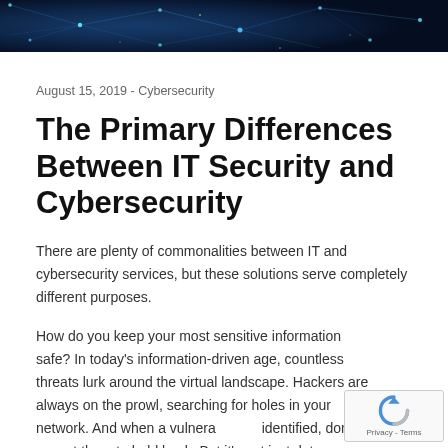[Figure (photo): Dark cybersecurity banner image with blue glowing network connections and city lights in the background]
August 15, 2019 - Cybersecurity
The Primary Differences Between IT Security and Cybersecurity
There are plenty of commonalities between IT and cybersecurity services, but these solutions serve completely different purposes.
How do you keep your most sensitive information safe? In today's information-driven age, countless threats lurk around the virtual landscape. Hackers are always on the prowl, searching for holes in your network. And when a vulnerability is identified, don't expect them to hold back. But it's not just data